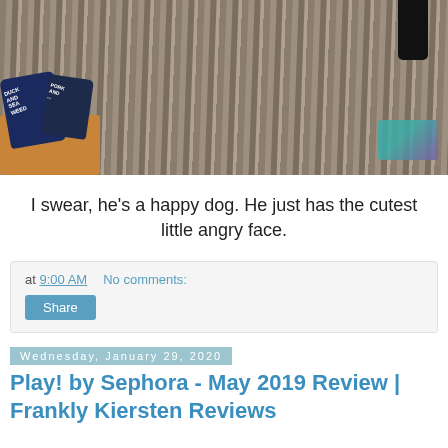[Figure (photo): Overhead photo on a wooden deck showing a cardboard box with dark navy blue treat bags (Duck and Seaweed, Pork and something flavors), a flamingo toy, and a dog's black paws/legs visible at top right. A teal/purple watermark logo is visible bottom right.]
I swear, he's a happy dog. He just has the cutest little angry face.
at 9:00 AM   No comments:
Share
Wednesday, January 29, 2020
Play! by Sephora - May 2019 Review | Frankly Kiersten Reviews